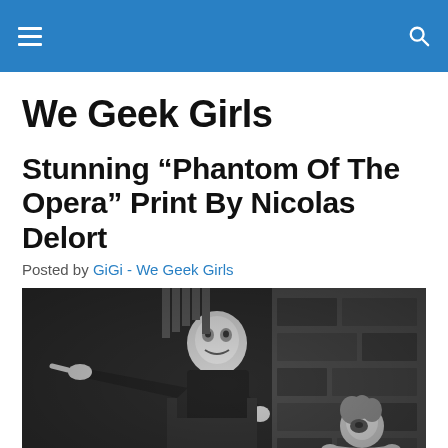We Geek Girls — navigation header
We Geek Girls
Stunning “Phantom Of The Opera” Print By Nicolas Delort
Posted by GiGi - We Geek Girls
[Figure (photo): Black and white still from Phantom of the Opera showing the Phantom pointing with an outstretched arm, and a woman recoiling in fear to the right]